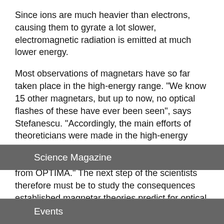Since ions are much heavier than electrons, causing them to gyrate a lot slower, electromagnetic radiation is emitted at much lower energy.
Most observations of magnetars have so far taken place in the high-energy range. "We know 15 other magnetars, but up to now, no optical flashes of these have ever been seen", says Stefanescu. "Accordingly, the main efforts of theoreticians were made in the high-energy regime. That's why we don't have an adequate theory with which to compare the observations from OPTIMA." The next step of the scientists therefore must be to study the consequences established magnetar theories predict for optical emission.
Science Magazine
Events